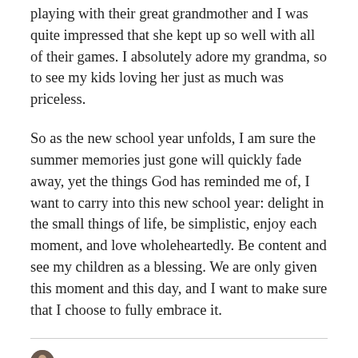playing with their great grandmother and I was quite impressed that she kept up so well with all of their games. I absolutely adore my grandma, so to see my kids loving her just as much was priceless.
So as the new school year unfolds, I am sure the summer memories just gone will quickly fade away, yet the things God has reminded me of, I want to carry into this new school year: delight in the small things of life, be simplistic, enjoy each moment, and love wholeheartedly. Be content and see my children as a blessing. We are only given this moment and this day, and I want to make sure that I choose to fully embrace it.
JOY A. MEAD
SEPTEMBER 3, 2018
SHARE THIS: